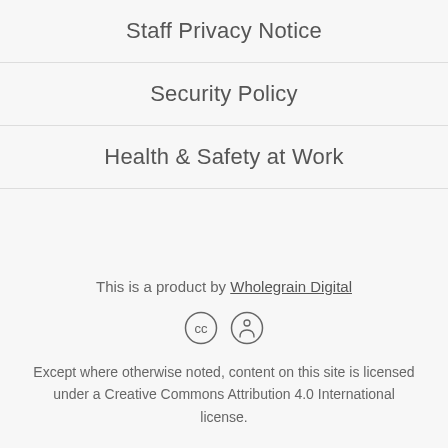Staff Privacy Notice
Security Policy
Health & Safety at Work
This is a product by Wholegrain Digital
[Figure (illustration): Creative Commons (CC) and Attribution (BY) license icons]
Except where otherwise noted, content on this site is licensed under a Creative Commons Attribution 4.0 International license.